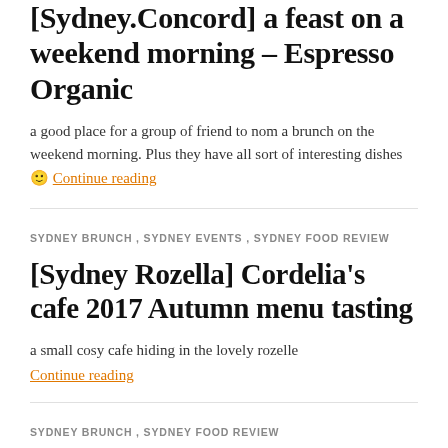[Sydney.Concord] a feast on a weekend morning – Espresso Organic
a good place for a group of friend to nom a brunch on the weekend morning. Plus they have all sort of interesting dishes 🙂 Continue reading
SYDNEY BRUNCH , SYDNEY EVENTS , SYDNEY FOOD REVIEW
[Sydney Rozella] Cordelia's cafe 2017 Autumn menu tasting
a small cosy cafe hiding in the lovely rozelle
Continue reading
SYDNEY BRUNCH , SYDNEY FOOD REVIEW